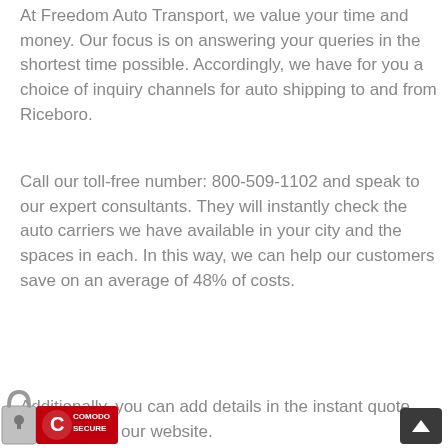At Freedom Auto Transport, we value your time and money. Our focus is on answering your queries in the shortest time possible. Accordingly, we have for you a choice of inquiry channels for auto shipping to and from Riceboro.
Call our toll-free number: 800-509-1102 and speak to our expert consultants. They will instantly check the auto carriers we have available in your city and the spaces in each. In this way, we can help our customers save on an average of 48% of costs.
Additionally, you can add details in the instant quote calculator on our website.
[Figure (logo): Comodo Secure padlock badge with red circular logo and text COMODO SECURE]
[Figure (other): Dark scroll-to-top button with upward arrow chevron in bottom-right corner]